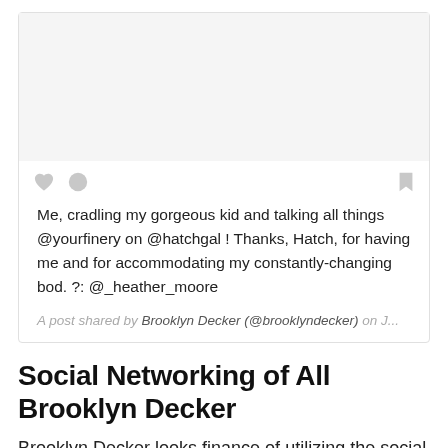[Figure (screenshot): Social media post card with a light gray image area at top, heart and comment icons below the image, a bookmark icon on the right, post text, and attribution line.]
Me, cradling my gorgeous kid and talking all things @yourfinery on @hatchgal ! Thanks, Hatch, for having me and for accommodating my constantly-changing bod. ?: @_heather_moore
A post shared by Brooklyn Decker (@brooklyndecker) on J...
Social Networking of All Brooklyn Decker
Brooklyn Decker looks finance of utilizing the social networking websites that could be readily...